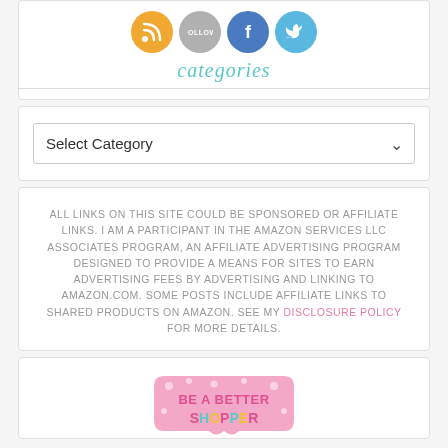[Figure (infographic): Row of social media icon circles: RSS (orange), Follow (gray), Facebook (blue), Twitter (light blue)]
categories
Select Category
ALL LINKS ON THIS SITE COULD BE SPONSORED OR AFFILIATE LINKS. I AM A PARTICIPANT IN THE AMAZON SERVICES LLC ASSOCIATES PROGRAM, AN AFFILIATE ADVERTISING PROGRAM DESIGNED TO PROVIDE A MEANS FOR SITES TO EARN ADVERTISING FEES BY ADVERTISING AND LINKING TO AMAZON.COM. SOME POSTS INCLUDE AFFILIATE LINKS TO SHARED PRODUCTS ON AMAZON. SEE MY DISCLOSURE POLICY FOR MORE DETAILS.
[Figure (illustration): Pink badge/label shape with colorful text reading 'BE A BETTER SHOPPER']